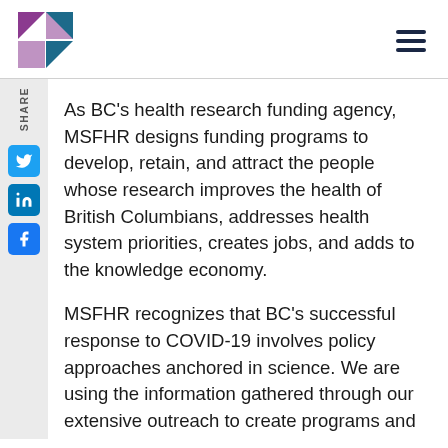MSFHR logo and navigation
As BC’s health research funding agency, MSFHR designs funding programs to develop, retain, and attract the people whose research improves the health of British Columbians, addresses health system priorities, creates jobs, and adds to the knowledge economy.
MSFHR recognizes that BC’s successful response to COVID-19 involves policy approaches anchored in science. We are using the information gathered through our extensive outreach to create programs and activities that will enable innovative, cross-disciplinary researchers and teams to produce the science and evidence British Columbians